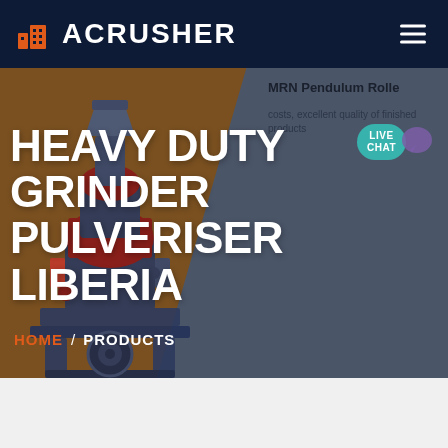ACRUSHER
[Figure (screenshot): Industrial heavy duty grinder pulveriser machine (dark blue/grey colored) displayed against a brown and grey hero background]
HEAVY DUTY GRINDER PULVERISER LIBERIA
MRN Pendulum Rolle
costs, excellent quality of finished products
LIVE CHAT
HOME / PRODUCTS